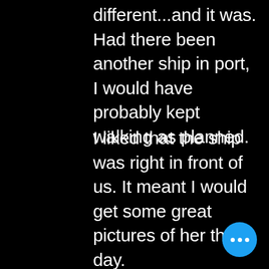different...and it was. Had there been another ship in port, I would have probably kept walking as planned.
I liked that the ship was right in front of us. It meant I would get some great pictures of her that day.
[Figure (other): Blue circular button with three white dots (more/ellipsis menu button) in the bottom-right corner]